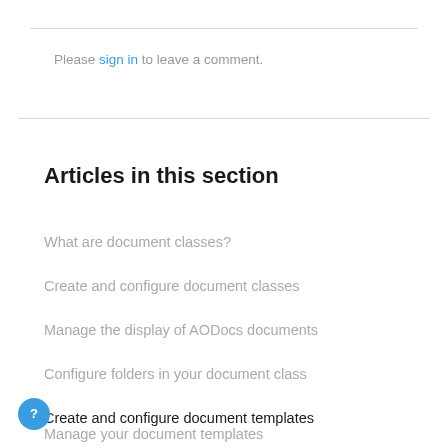Please sign in to leave a comment.
Articles in this section
What are document classes?
Create and configure document classes
Manage the display of AODocs documents
Configure folders in your document class
Create and configure document templates
Manage your document templates